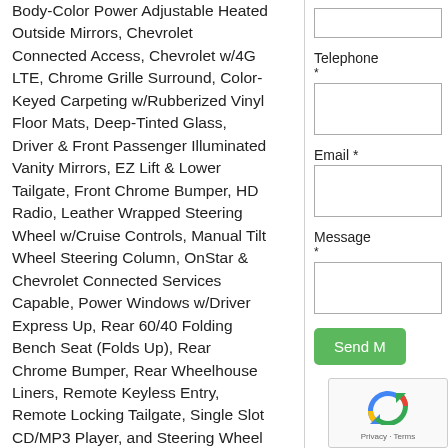Body-Color Power Adjustable Heated Outside Mirrors, Chevrolet Connected Access, Chevrolet w/4G LTE, Chrome Grille Surround, Color-Keyed Carpeting w/Rubberized Vinyl Floor Mats, Deep-Tinted Glass, Driver & Front Passenger Illuminated Vanity Mirrors, EZ Lift & Lower Tailgate, Front Chrome Bumper, HD Radio, Leather Wrapped Steering Wheel w/Cruise Controls, Manual Tilt Wheel Steering Column, OnStar & Chevrolet Connected Services Capable, Power Windows w/Driver Express Up, Rear 60/40 Folding Bench Seat (Folds Up), Rear Chrome Bumper, Rear Wheelhouse Liners, Remote Keyless Entry, Remote Locking Tailgate, Single Slot CD/MP3 Player, and Steering Wheel Audio Controls), Texas Edition (Texas Edition Badging), Trailering Package (Heavy-Duty Rear Locking Differential), Silverado
Telephone *
Email *
Message *
Send M
[Figure (other): reCAPTCHA widget showing a circular arrow icon with 'Privacy · Terms' text below]